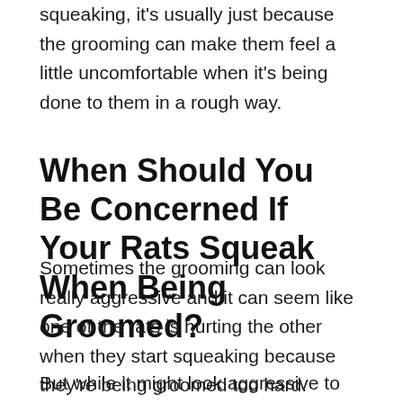squeaking, it's usually just because the grooming can make them feel a little uncomfortable when it's being done to them in a rough way.
When Should You Be Concerned If Your Rats Squeak When Being Groomed?
Sometimes the grooming can look really aggressive and it can seem like one of the rats is hurting the other when they start squeaking because they're being groomed too hard.
But while it might look aggressive to us, the grooming usually isn't all that rough, it can just get a